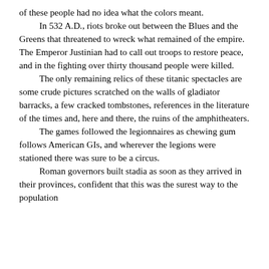of these people had no idea what the colors meant.

In 532 A.D., riots broke out between the Blues and the Greens that threatened to wreck what remained of the empire. The Emperor Justinian had to call out troops to restore peace, and in the fighting over thirty thousand people were killed.

The only remaining relics of these titanic spectacles are some crude pictures scratched on the walls of gladiator barracks, a few cracked tombstones, references in the literature of the times and, here and there, the ruins of the amphitheaters.

The games followed the legionnaires as chewing gum follows American GIs, and wherever the legions were stationed there was sure to be a circus.

Roman governors built stadia as soon as they arrived in their provinces, confident that this was the surest way to the population...